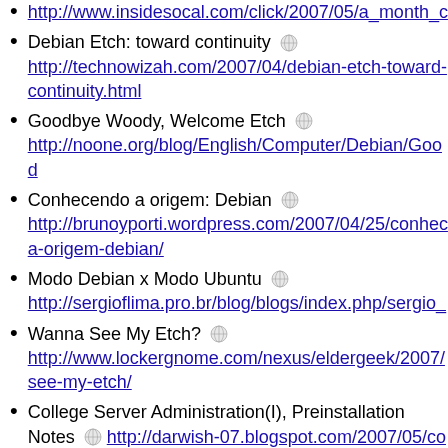http://www.insidesocal.com/click/2007/05/a_month_c...
Debian Etch: toward continuity http://technowizah.com/2007/04/debian-etch-toward-continuity.html
Goodbye Woody, Welcome Etch http://noone.org/blog/English/Computer/Debian/Good...
Conhecendo a origem: Debian http://brunoyporti.wordpress.com/2007/04/25/conhec... a-origem-debian/
Modo Debian x Modo Ubuntu http://sergioflima.pro.br/blog/blogs/index.php/sergio_...
Wanna See My Etch? http://www.lockergnome.com/nexus/eldergeek/2007/... see-my-etch/
College Server Administration(I), Preinstallation Notes http://darwish-07.blogspot.com/2007/05/college-server-administration-i.html